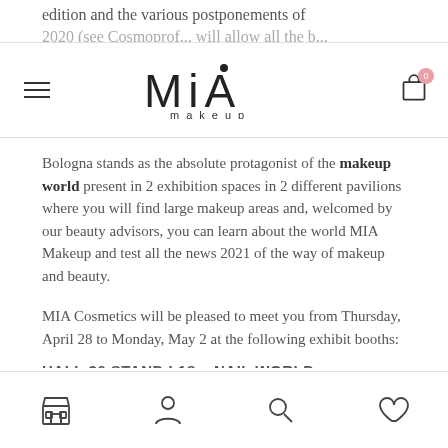edition and the various postponements of 2020 (see Cosmoprof...will allow all the b...
MIA makeup (logo with navigation)
Bologna stands as the absolute protagonist of the makeup world present in 2 exhibition spaces in 2 different pavilions where you will find large makeup areas and, welcomed by our beauty advisors, you can learn about the world MIA Makeup and test all the news 2021 of the way of makeup and beauty.
MIA Cosmetics will be pleased to meet you from Thursday, April 28 to Monday, May 2 at the following exhibit booths:
HALL 36 STAND L18 – NAIL WORLD
Bottom navigation bar with store, account, search, and wishlist icons